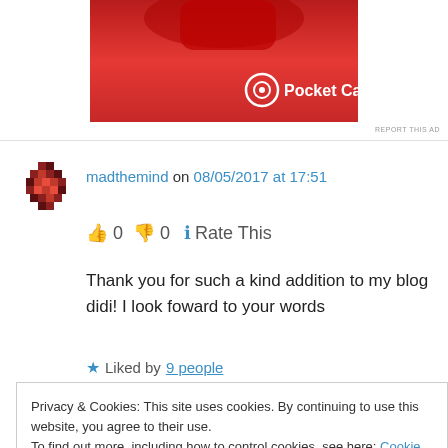[Figure (photo): Pocket Casts advertisement banner with red gradient background showing a red device and Pocket Casts logo with text]
REPORT THIS AD
[Figure (illustration): User avatar - pixelated/mosaic style circular avatar icon]
madthemind on 08/05/2017 at 17:51
👍 0 👎 0 ℹ Rate This
Thank you for such a kind addition to my blog didi! I look foward to your words
★ Liked by 9 people
Log in to Reply
Privacy & Cookies: This site uses cookies. By continuing to use this website, you agree to their use.
To find out more, including how to control cookies, see here: Cookie Policy
Close and accept
Hi, Didi! It's your turn to be awarded…You've